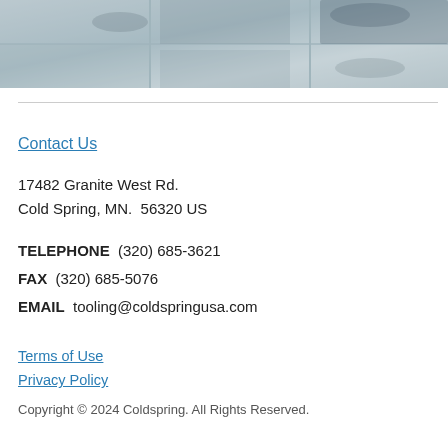[Figure (photo): Aerial or close-up photo of granite stone slabs or tiles in grey/blue tones]
Contact Us
17482 Granite West Rd.
Cold Spring, MN.  56320 US
TELEPHONE  (320) 685-3621
FAX  (320) 685-5076
EMAIL  tooling@coldspringusa.com
Terms of Use
Privacy Policy
Copyright © 2024 Coldspring. All Rights Reserved.